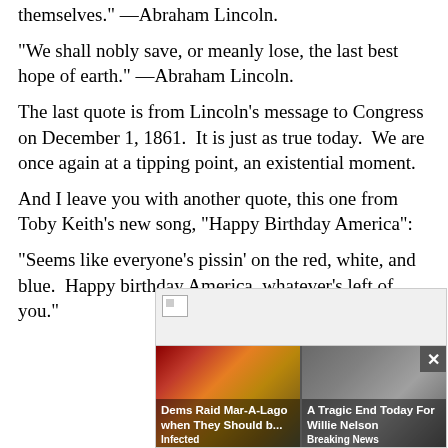themselves." —Abraham Lincoln.
"We shall nobly save, or meanly lose, the last best hope of earth." —Abraham Lincoln.
The last quote is from Lincoln's message to Congress on December 1, 1861.  It is just as true today.  We are once again at a tipping point, an existential moment.
And I leave you with another quote, this one from Toby Keith's new song, "Happy Birthday America":
"Seems like everyone's pissin' on the red, white, and blue.  Happy birthday America, whatever's left of you."
[Figure (screenshot): Advertisement/news widget showing two news cards: 'Dems Raid Mar-A-Lago when They Should b...' tagged 'Infected' and 'A Tragic End Today For Willie Nelson' tagged 'Breaking News', with a broken image icon at top and a close button.]